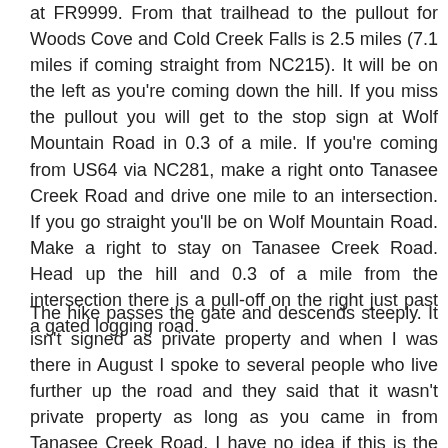at FR9999. From that trailhead to the pullout for Woods Cove and Cold Creek Falls is 2.5 miles (7.1 miles if coming straight from NC215). It will be on the left as you're coming down the hill. If you miss the pullout you will get to the stop sign at Wolf Mountain Road in 0.3 of a mile. If you're coming from US64 via NC281, make a right onto Tanasee Creek Road and drive one mile to an intersection. If you go straight you'll be on Wolf Mountain Road. Make a right to stay on Tanasee Creek Road. Head up the hill and 0.3 of a mile from the intersection there is a pull-off on the right just past a gated logging road.
The hike passes the gate and descends steeply. It isn't signed as private property and when I was there in August I spoke to several people who live further up the road and they said that it wasn't private property as long as you came in from Tanasee Creek Road. I have no idea if this is the case of not but they were friendly and